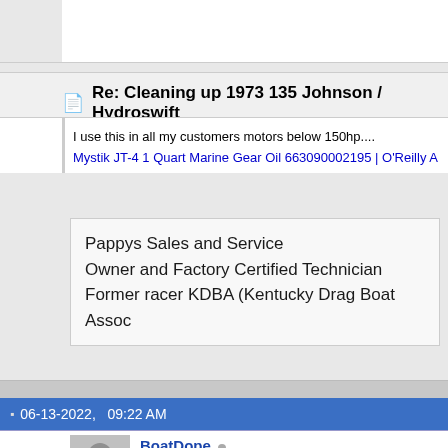Re: Cleaning up 1973 135 Johnson / Hydroswift
I use this in all my customers motors below 150hp....
Mystik JT-4 1 Quart Marine Gear Oil 663090002195 | O'Reilly A
Pappys Sales and Service
Owner and Factory Certified Technician
Former racer KDBA (Kentucky Drag Boat Assoc
06-13-2022,   09:22 AM
BoatDope
Member